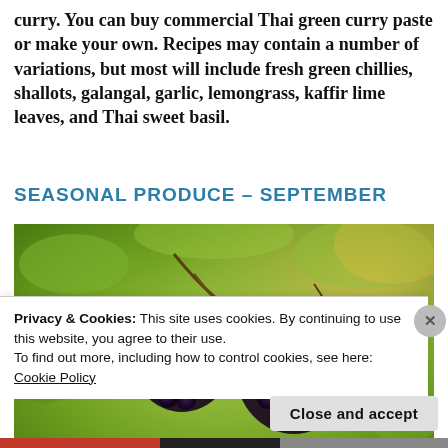curry. You can buy commercial Thai green curry paste or make your own. Recipes may contain a number of variations, but most will include fresh green chillies, shallots, galangal, garlic, lemongrass, kaffir lime leaves, and Thai sweet basil.
SEASONAL PRODUCE – SEPTEMBER
[Figure (photo): Close-up photograph of ripe blackberries hanging on a vine with green bokeh background and warm sunlight]
Privacy & Cookies: This site uses cookies. By continuing to use this website, you agree to their use.
To find out more, including how to control cookies, see here: Cookie Policy
Close and accept